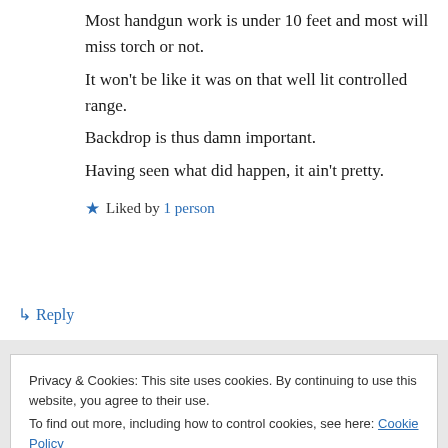Most handgun work is under 10 feet and most will miss torch or not.
It won’t be like it was on that well lit controlled range.
Backdrop is thus damn important.
Having seen what did happen, it ain’t pretty.
★ Liked by 1 person
↳ Reply
Privacy & Cookies: This site uses cookies. By continuing to use this website, you agree to their use.
To find out more, including how to control cookies, see here: Cookie Policy